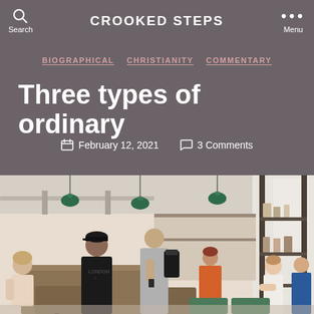CROOKED STEPS
Search
Menu
BIOGRAPHICAL  CHRISTIANITY  COMMENTARY
Three types of ordinary
February 12, 2021   3 Comments
[Figure (photo): Busy cafe interior with people sitting and standing, green pendant lights hanging from ceiling, shelving with products, person in black London shirt at counter]